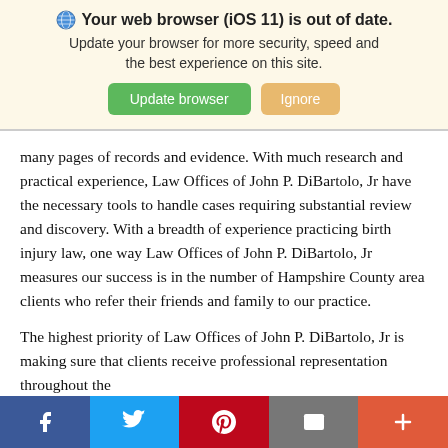[Figure (screenshot): Browser update notification banner with globe icon, bold title 'Your web browser (iOS 11) is out of date.', subtitle text, and two buttons: 'Update browser' (green) and 'Ignore' (tan/orange)]
many pages of records and evidence. With much research and practical experience, Law Offices of John P. DiBartolo, Jr have the necessary tools to handle cases requiring substantial review and discovery. With a breadth of experience practicing birth injury law, one way Law Offices of John P. DiBartolo, Jr measures our success is in the number of Hampshire County area clients who refer their friends and family to our practice.
The highest priority of Law Offices of John P. DiBartolo, Jr is making sure that clients receive professional representation throughout the
[Figure (infographic): Social media sharing bar at bottom with five buttons: Facebook (blue), Twitter (light blue), Pinterest (red), Email (gray), More/Plus (orange-red)]